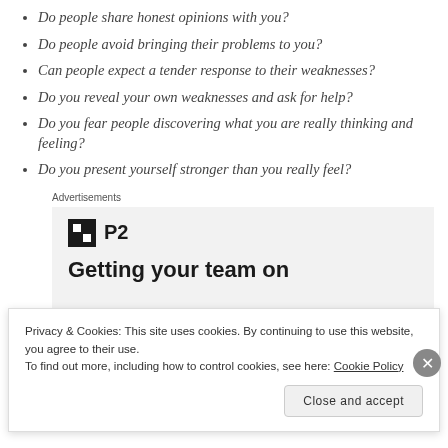Do people share honest opinions with you?
Do people avoid bringing their problems to you?
Can people expect a tender response to their weaknesses?
Do you reveal your own weaknesses and ask for help?
Do you fear people discovering what you are really thinking and feeling?
Do you present yourself stronger than you really feel?
[Figure (other): Advertisement box with P2 logo and partial heading 'Getting your team on' with truncated text below]
Privacy & Cookies: This site uses cookies. By continuing to use this website, you agree to their use. To find out more, including how to control cookies, see here: Cookie Policy
Close and accept